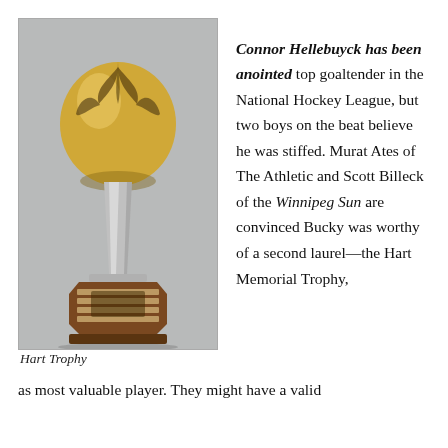[Figure (photo): Photograph of the Hart Trophy — a silver and gold trophy with a large ornate bulbous top and a tall tapered silver stem, mounted on a multi-sided dark wood base with engraved plaques.]
Hart Trophy
Connor Hellebuyck has been anointed top goaltender in the National Hockey League, but two boys on the beat believe he was stiffed. Murat Ates of The Athletic and Scott Billeck of the Winnipeg Sun are convinced Bucky was worthy of a second laurel—the Hart Memorial Trophy, as most valuable player. They might have a valid